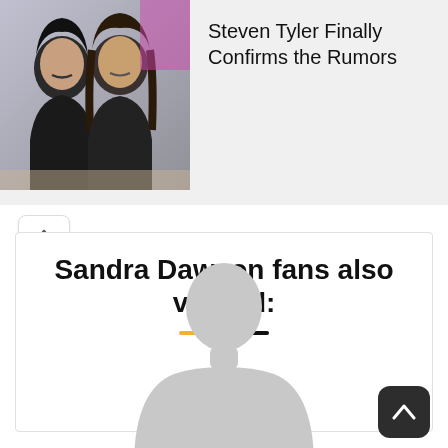[Figure (photo): Ad banner showing two men with long dark hair against a colorful background, with text 'Steven Tyler Finally Confirms the Rumors' and source 'Musicoholic']
Steven Tyler Finally Confirms the Rumors
Sandra Dawson fans also viewed:
[Figure (illustration): Gray silhouette placeholder image of a person (head and shoulders)]